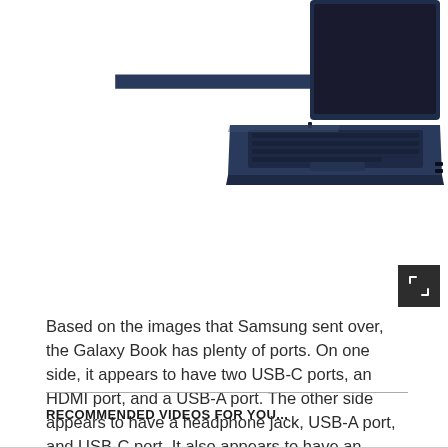[Figure (photo): Side view of a Samsung Galaxy Book laptop in navy/blue color, showing the keyboard and ports on the right side, partially cropped at top.]
Based on the images that Samsung sent over, the Galaxy Book has plenty of ports. On one side, it appears to have two USB-C ports, an HDMI port, and a USB-A port. The other side appears to have a headphone jack, USB-A port, and USB-C port. It also appears to have an optional slot for a SIM card.
RECOMMENDED VIDEOS FOR YOU...